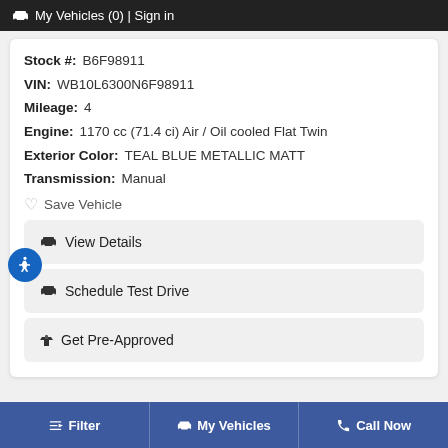🚗 My Vehicles (0) | Sign in
Stock #: B6F98911
VIN: WB10L6300N6F98911
Mileage: 4
Engine: 1170 cc (71.4 ci) Air / Oil cooled Flat Twin
Exterior Color: TEAL BLUE METALLIC MATT
Transmission: Manual
Save Vehicle
View Details
Schedule Test Drive
Get Pre-Approved
Filter | My Vehicles | Call Now